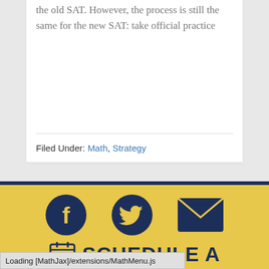the old SAT. However, the process is still the same for the new SAT: take official practice
Filed Under: Math, Strategy
[Figure (infographic): Three social media icons: Facebook (circle with f), Twitter (bird), and email (envelope), all in dark navy blue on yellow background]
SCHEDULE A
Loading [MathJax]/extensions/MathMenu.js